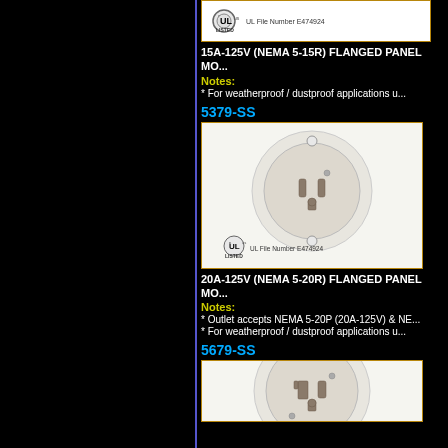[Figure (photo): UL Listed badge with file number E474924 at top of page (partially visible)]
15A-125V (NEMA 5-15R) FLANGED PANEL MOUNT OUTLET
Notes:
* For weatherproof / dustproof applications use...
5379-SS
[Figure (photo): 20A-125V (NEMA 5-20R) flanged panel mount outlet, white/ivory, round flange with mounting holes, UL Listed E474924]
20A-125V (NEMA 5-20R) FLANGED PANEL MOUNT OUTLET
Notes:
* Outlet accepts NEMA 5-20P (20A-125V) & NE...
* For weatherproof / dustproof applications use...
5679-SS
[Figure (photo): 30A or 20A 125V flanged panel mount outlet, white/ivory round flange with mounting holes, partially visible UL Listed badge]